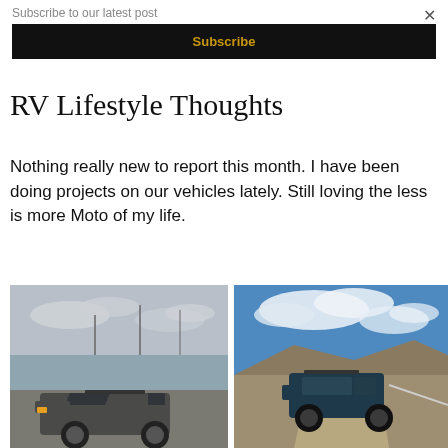Subscribe to our latest post
Subscribe
×
RV Lifestyle Thoughts
Nothing really new to report this month. I have been doing projects on our vehicles lately. Still loving the less is more Moto of my life.
[Figure (photo): Gray SUV (Toyota Land Cruiser) parked near a lake under an overcast sky]
[Figure (photo): Dark blue SUV on a dirt road with hills and blue sky with clouds in the background]